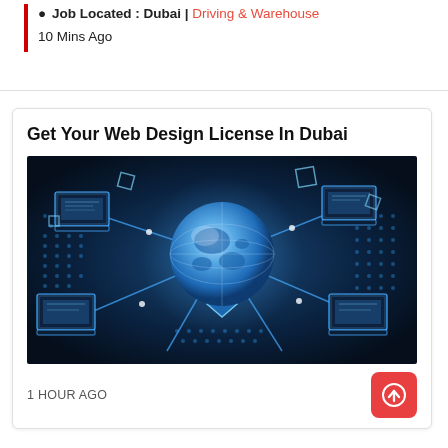Job Located : Dubai | Driving & Warehouse
10 Mins Ago
Get Your Web Design License In Dubai
[Figure (photo): A globe connected to multiple laptops by lines of light, representing global internet/network connectivity, rendered in blue tones on a dark background with digital circuit patterns.]
1 HOUR AGO